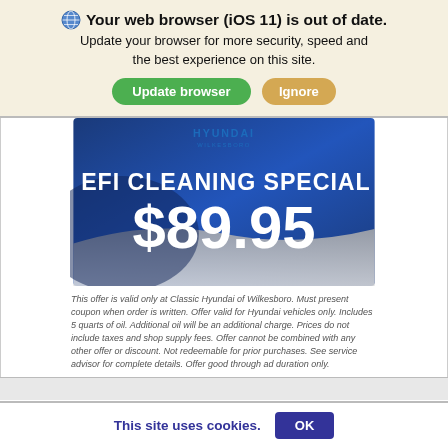Your web browser (iOS 11) is out of date. Update your browser for more security, speed and the best experience on this site.
[Figure (infographic): Classic Hyundai of Wilkesboro advertisement for EFI Cleaning Special at $89.95. Blue background with large white bold text showing the service name and price, with Hyundai logo at top.]
This offer is valid only at Classic Hyundai of Wilkesboro. Must present coupon when order is written. Offer valid for Hyundai vehicles only. Includes 5 quarts of oil. Additional oil will be an additional charge. Prices do not include taxes and shop supply fees. Offer cannot be combined with any other offer or discount. Not redeemable for prior purchases. See service advisor for complete details. Offer good through ad duration only.
This site uses cookies.